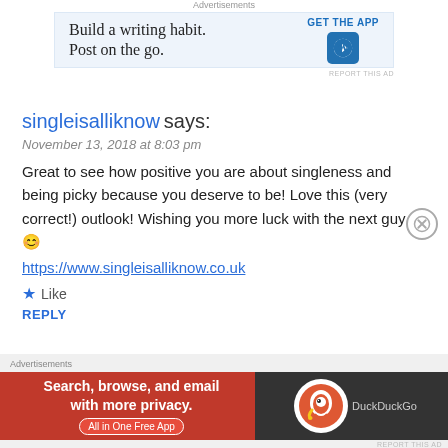[Figure (screenshot): Advertisement banner: WordPress app ad with text 'Build a writing habit. Post on the go.' and 'GET THE APP' button with WordPress logo]
singleisalliknow says:
November 13, 2018 at 8:03 pm
Great to see how positive you are about singleness and being picky because you deserve to be! Love this (very correct!) outlook! Wishing you more luck with the next guy 😊
https://www.singleisalliknow.co.uk
★ Like
REPLY
em says:
[Figure (screenshot): Advertisement banner: DuckDuckGo app ad with text 'Search, browse, and email with more privacy. All in One Free App']